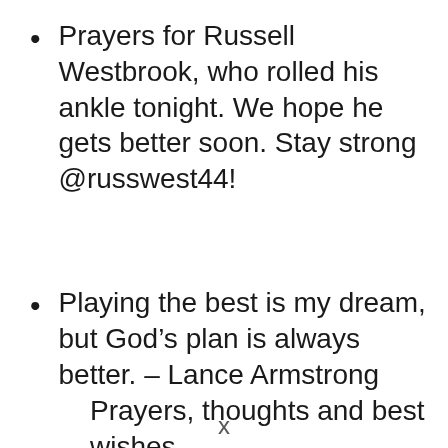Prayers for Russell Westbrook, who rolled his ankle tonight. We hope he gets better soon. Stay strong @russwest44!
Playing the best is my dream, but God’s plan is always better. – Lance Armstrong
Prayers, thoughts and best wishes